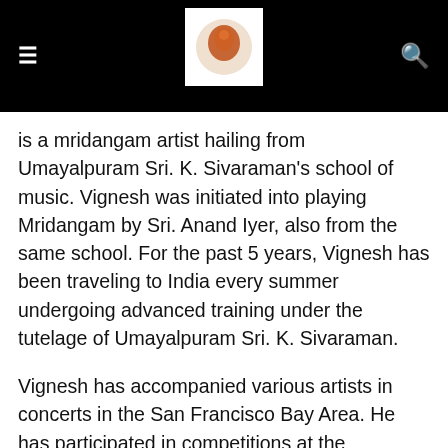≡ [IIAS logo] 🔍
is a mridangam artist hailing from Umayalpuram Sri. K. Sivaraman's school of music. Vignesh was initiated into playing Mridangam by Sri. Anand Iyer, also from the same school. For the past 5 years, Vignesh has been traveling to India every summer undergoing advanced training under the tutelage of Umayalpuram Sri. K. Sivaraman.
Vignesh has accompanied various artists in concerts in the San Francisco Bay Area. He has participated in competitions at the Cleveland Thyagaraja Aradhana and has won several prizes in both categories.
Vignesh is also learning vocal carnatic music